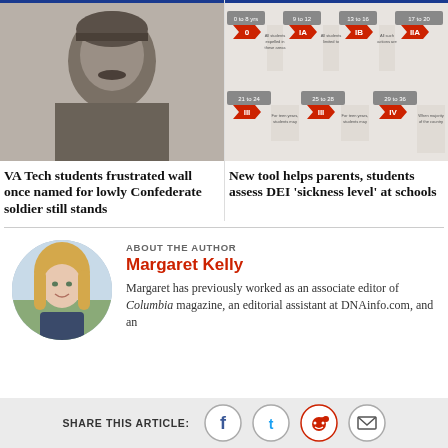[Figure (photo): Black and white historical portrait photo of a man with a mustache, side profile, 19th century style]
VA Tech students frustrated wall once named for lowly Confederate soldier still stands
[Figure (infographic): Red and grey infographic showing age ranges with numbered labels and descriptive text, multiple sections from age 0-36+]
New tool helps parents, students assess DEI ‘sickness level’ at schools
ABOUT THE AUTHOR
Margaret Kelly
[Figure (photo): Circular portrait photo of a young woman with blonde hair outdoors]
Margaret has previously worked as an associate editor of Columbia magazine, an editorial assistant at DNAinfo.com, and an
SHARE THIS ARTICLE: